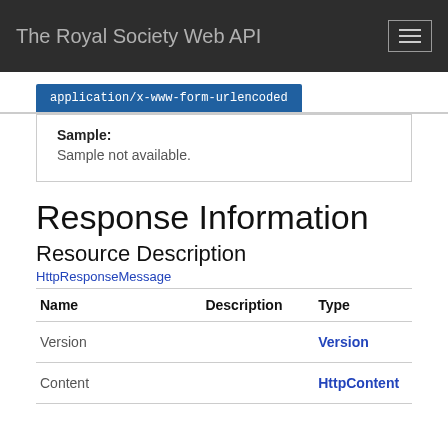The Royal Society Web API
application/x-www-form-urlencoded
Sample:
Sample not available.
Response Information
Resource Description
HttpResponseMessage
| Name | Description | Type |
| --- | --- | --- |
| Version |  | Version |
| Content |  | HttpContent |